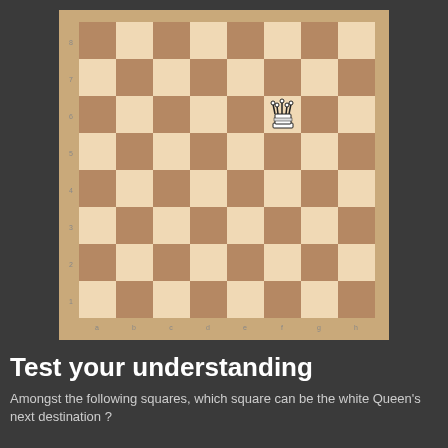[Figure (illustration): Chess board with 8x8 squares in alternating beige and brown colors. Row numbers 1-8 on left side, column letters a-h on bottom. A white Queen piece is placed on square f6.]
Test your understanding
Amongst the following squares, which square can be the white Queen's next destination ?